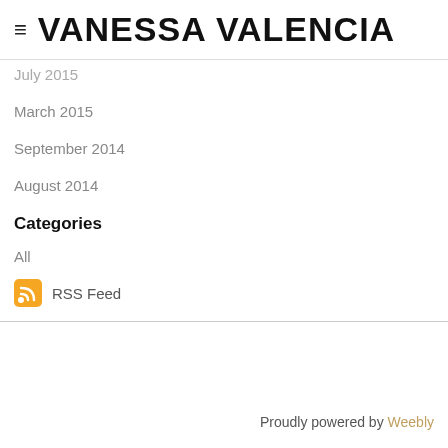≡ VANESSA VALENCIA
July 2015
March 2015
September 2014
August 2014
Categories
All
RSS Feed
Proudly powered by Weebly